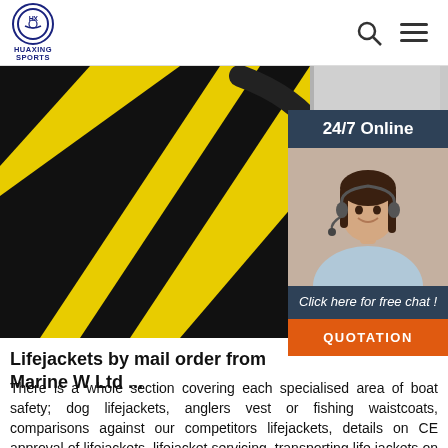HUAXING SPORTS
[Figure (photo): Close-up of a yellow and black wetsuit or lifejacket product against a light background]
[Figure (infographic): 24/7 Online support widget showing a female customer service agent with headset, with 'Click here for free chat!' text and QUOTATION button]
Lifejackets by mail order from Marine W Ltd ...
There is a whole section covering each specialised area of boat safety; dog lifejackets, anglers vest or fishing waistcoats, comparisons against our competitors lifejackets, details on CE approval of lifejackets, lifejacket servicing, transporting life jackets on aircraft, a kids section for help with a life jacket for your baby, toddler